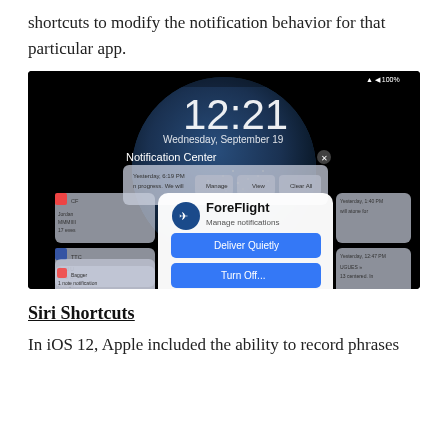shortcuts to modify the notification behavior for that particular app.
[Figure (screenshot): iOS Notification Center screenshot showing ForeFlight app notification management popup with options: Deliver Quietly, Turn Off, and Settings. The screen shows time 12:21, Wednesday September 19, with a dark Earth globe background.]
Siri Shortcuts
In iOS 12, Apple included the ability to record phrases